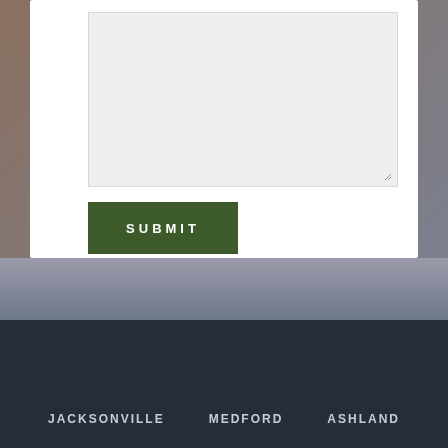[Figure (screenshot): A textarea input field with light gray background and resize handle in bottom-right corner, part of a web form on a white card over a brownish-gray gradient background.]
SUBMIT
JACKSONVILLE    MEDFORD    ASHLAND